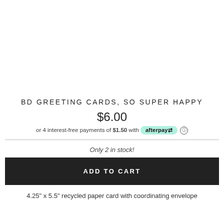BD GREETING CARDS, SO SUPER HAPPY
$6.00
or 4 interest-free payments of $1.50 with afterpay
Only 2 in stock!
ADD TO CART
4.25" x 5.5" recycled paper card with coordinating envelope